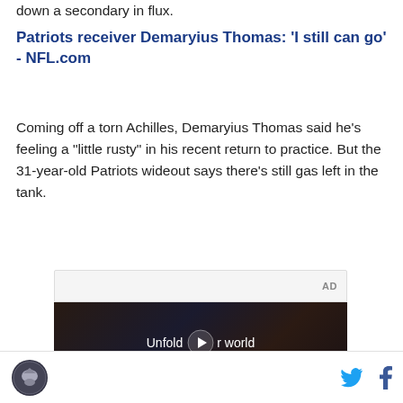down a secondary in flux.
Patriots receiver Demaryius Thomas: 'I still can go' - NFL.com
Coming off a torn Achilles, Demaryius Thomas said he's feeling a "little rusty" in his recent return to practice. But the 31-year-old Patriots wideout says there's still gas left in the tank.
[Figure (screenshot): AD label with video advertisement showing a person in a car holding a phone, with text 'Unfold your world' overlay]
SB Nation logo, Twitter icon, Facebook icon